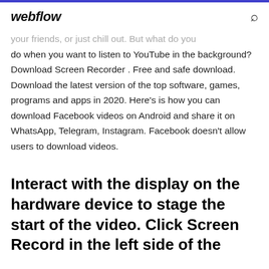webflow
your friends, or just chill out. But what do you do when you want to listen to YouTube in the background? Download Screen Recorder . Free and safe download. Download the latest version of the top software, games, programs and apps in 2020. Here's is how you can download Facebook videos on Android and share it on WhatsApp, Telegram, Instagram. Facebook doesn't allow users to download videos.
Interact with the display on the hardware device to stage the start of the video. Click Screen Record in the left side of the